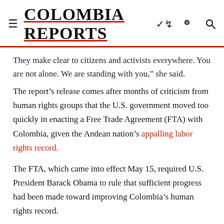COLOMBIA REPORTS
They make clear to citizens and activists everywhere. You are not alone. We are standing with you,” she said.
The report’s release comes after months of criticism from human rights groups that the U.S. government moved too quickly in enacting a Free Trade Agreement (FTA) with Colombia, given the Andean nation’s appalling labor rights record.
The FTA, which came into effect May 15, required U.S. President Barack Obama to rule that sufficient progress had been made toward improving Colombia’s human rights record.